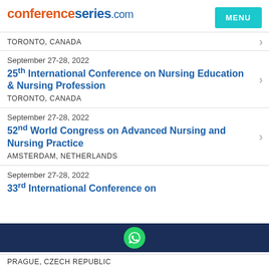conferenceseries.com
TORONTO, CANADA
September 27-28, 2022
25th International Conference on Nursing Education & Nursing Profession
TORONTO, CANADA
September 27-28, 2022
52nd World Congress on Advanced Nursing and Nursing Practice
AMSTERDAM, NETHERLANDS
September 27-28, 2022
33rd International Conference on
PRAGUE, CZECH REPUBLIC